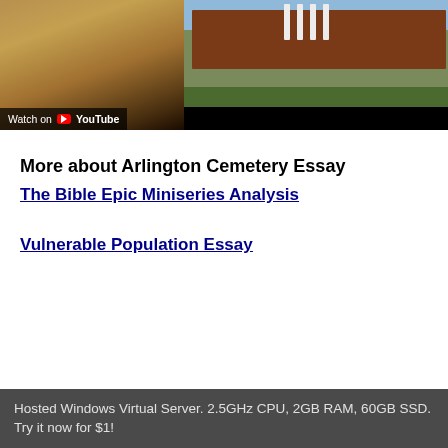[Figure (screenshot): YouTube video thumbnail showing a split image: left side has warm brown/golden tones, right side shows a brick building with white columns and green lawn. A 'Watch on YouTube' overlay bar appears at bottom left.]
More about Arlington Cemetery Essay
The Bible Epic Miniseries Analysis
Vulnerable Population Essay
Hosted Windows Virtual Server. 2.5GHz CPU, 2GB RAM, 60GB SSD. Try it now for $1!